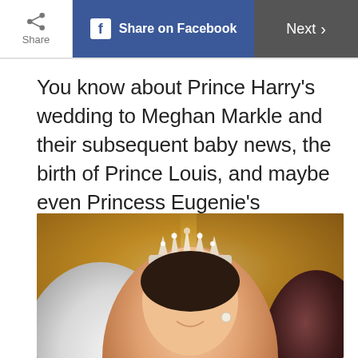Share | Share on Facebook | Next >
You know about Prince Harry's wedding to Meghan Markle and their subsequent baby news, the birth of Prince Louis, and maybe even Princess Eugenie's nuptials. But 2018 saw other notable royal occasions, too: a banner year for the Windsors!
[Figure (photo): Photo of a woman wearing a diamond tiara and pearl drop earrings, smiling, with a warm golden background suggestive of a grand royal event. A white fur stole is visible on the left and a dark-haired figure on the right.]